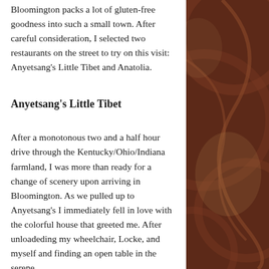Bloomington packs a lot of gluten-free goodness into such a small town. After careful consideration, I selected two restaurants on the street to try on this visit: Anyetsang's Little Tibet and Anatolia.
Anyetsang's Little Tibet
After a monotonous two and a half hour drive through the Kentucky/Ohio/Indiana farmland, I was more than ready for a change of scenery upon arriving in Bloomington. As we pulled up to Anyetsang's I immediately fell in love with the colorful house that greeted me. After unloadeding my wheelchair, Locke, and myself and finding an open table in the serene
[Figure (illustration): Decorative background on the right side of the page with dark reddish-brown color and abstract circular/curved line patterns.]